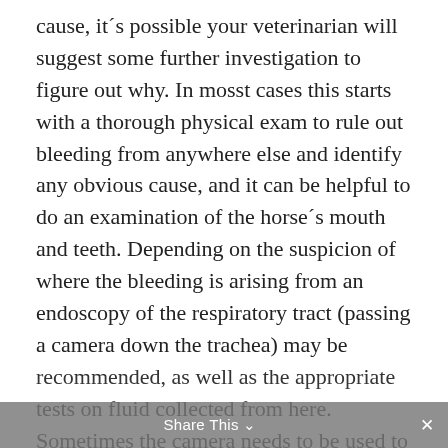cause, it´s possible your veterinarian will suggest some further investigation to figure out why. In mosst cases this starts with a thorough physical exam to rule out bleeding from anywhere else and identify any obvious cause, and it can be helpful to do an examination of the horse´s mouth and teeth. Depending on the suspicion of where the bleeding is arising from an endoscopy of the respiratory tract (passing a camera down the trachea) may be recommended, as well as the appropriate tests on fluid collected from here. Sometimes the camera needs to be used to examine the inside of the nose, the back of the horse´s mouth (the pharynx) and the gutural pouches to check for evidence of disease here, again simples are often collected and sent off for analysis. Finally in occasional cases
Share This ∨  ×